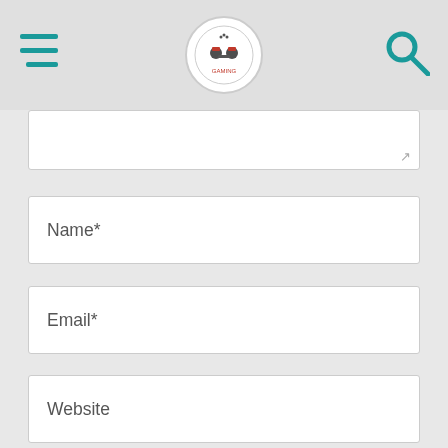[Figure (screenshot): Mobile website header bar with hamburger menu icon on left, circular logo in center, and search icon on right]
[Figure (screenshot): Partially visible textarea input field with resize handle]
Name*
Email*
Website
Save my name, email, and website in this browser for the next time I comment.
[Figure (other): Upload/scroll-to-top circular arrow button]
[Figure (other): Teal submit button at bottom]